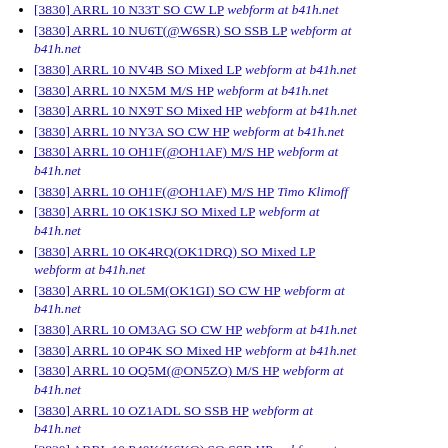[3830] ARRL 10 N33T SO CW LP  webform at b41h.net
[3830] ARRL 10 NU6T(@W6SR) SO SSB LP  webform at b41h.net
[3830] ARRL 10 NV4B SO Mixed LP  webform at b41h.net
[3830] ARRL 10 NX5M M/S HP  webform at b41h.net
[3830] ARRL 10 NX9T SO Mixed HP  webform at b41h.net
[3830] ARRL 10 NY3A SO CW HP  webform at b41h.net
[3830] ARRL 10 OH1F(@OH1AF) M/S HP  webform at b41h.net
[3830] ARRL 10 OH1F(@OH1AF) M/S HP  Timo Klimoff
[3830] ARRL 10 OK1SKJ SO Mixed LP  webform at b41h.net
[3830] ARRL 10 OK4RQ(OK1DRQ) SO Mixed LP  webform at b41h.net
[3830] ARRL 10 OL5M(OK1GI) SO CW HP  webform at b41h.net
[3830] ARRL 10 OM3AG SO CW HP  webform at b41h.net
[3830] ARRL 10 OP4K SO Mixed HP  webform at b41h.net
[3830] ARRL 10 OQ5M(@ON5ZO) M/S HP  webform at b41h.net
[3830] ARRL 10 OZ1ADL SO SSB HP  webform at b41h.net
[3830] ARRL 10 P40K(K6KO) SO SSB HP  webform at b41h.net
[3830] ARRL 10 PA3EWG SO CW LP  webform at b41h.net